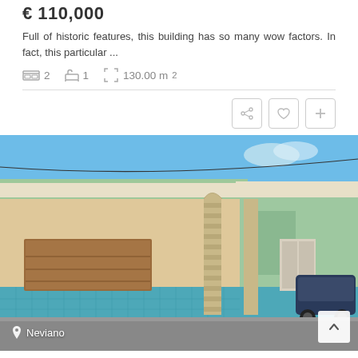€ 110,000
Full of historic features, this building has so many wow factors. In fact, this particular ...
2 bedrooms, 1 bathroom, 130.00 m²
[Figure (photo): Exterior street view of a single-storey house in Neviano with light green and beige facade, blue tiled lower wall, brick archway columns, brown garage door, and cars visible on the right side of the street under a blue sky.]